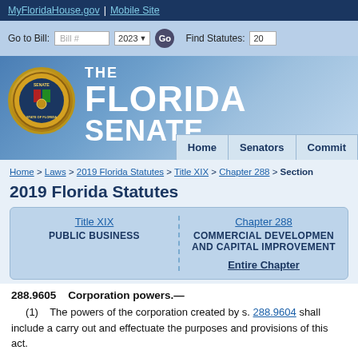MyFloridaHouse.gov | Mobile Site
[Figure (screenshot): Florida Senate navigation bar with Go to Bill input, year selector 2023, Go button, and Find Statutes field]
[Figure (logo): The Florida Senate seal and title logo with Home, Senators, Commit navigation tabs]
Home > Laws > 2019 Florida Statutes > Title XIX > Chapter 288 > Section
2019 Florida Statutes
| Title XIX | Chapter 288 |
| --- | --- |
| PUBLIC BUSINESS | COMMERCIAL DEVELOPMENT AND CAPITAL IMPROVEMENT |
|  | Entire Chapter |
288.9605    Corporation powers.—
(1)    The powers of the corporation created by s. 288.9604 shall include a carry out and effectuate the purposes and provisions of this act.
(2)    The corporation is authorized and empowered to: